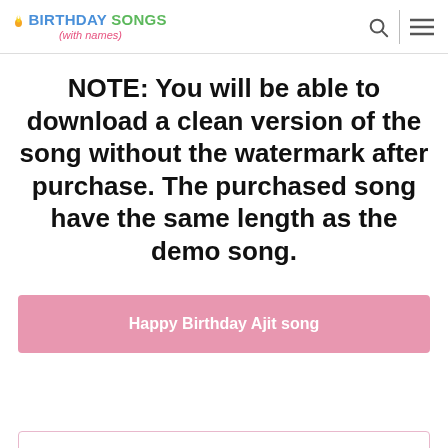BIRTHDAY SONGS (with names)
NOTE: You will be able to download a clean version of the song without the watermark after purchase. The purchased song have the same length as the demo song.
Happy Birthday Ajit song
Create a video for Ajit